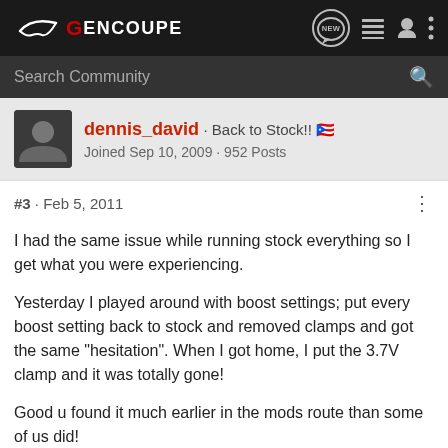GENCOUPE — navigation bar with logo, NEW button, list icon, user icon, more icon
Search Community
dennis_david · Back to Stock!! 🇵🇷
Joined Sep 10, 2009 · 952 Posts
#3 · Feb 5, 2011
I had the same issue while running stock everything so I get what you were experiencing.

Yesterday I played around with boost settings; put every boost setting back to stock and removed clamps and got the same "hesitation". When I got home, I put the 3.7V clamp and it was totally gone!

Good u found it much earlier in the mods route than some of us did!